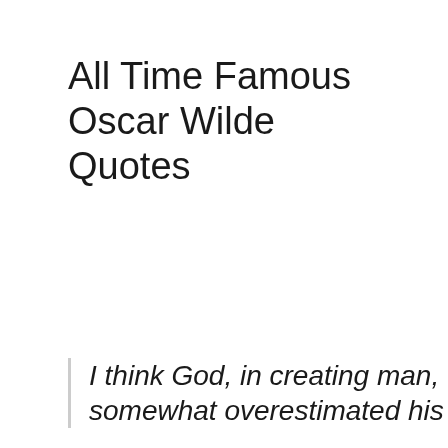All Time Famous Oscar Wilde Quotes
I think God, in creating man, somewhat overestimated his